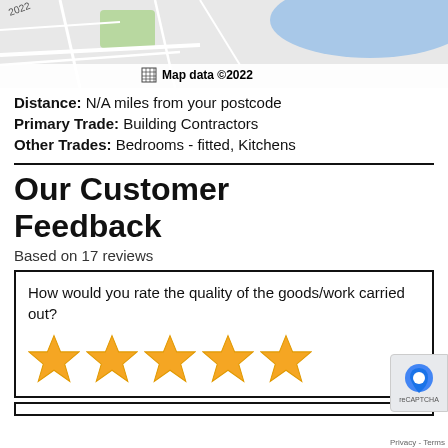[Figure (map): Street map showing area near coastline, with Map data ©2022 caption]
Distance: N/A miles from your postcode
Primary Trade: Building Contractors
Other Trades: Bedrooms - fitted, Kitchens
Our Customer Feedback
Based on 17 reviews
How would you rate the quality of the goods/work carried out? ★★★★★